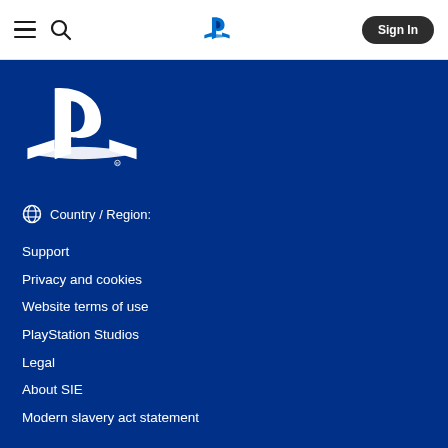PlayStation navigation bar with hamburger menu, search icon, PlayStation logo, and Sign In button
[Figure (logo): Large white PlayStation logo on blue background]
Country / Region:
Support
Privacy and cookies
Website terms of use
PlayStation Studios
Legal
About SIE
Modern slavery act statement